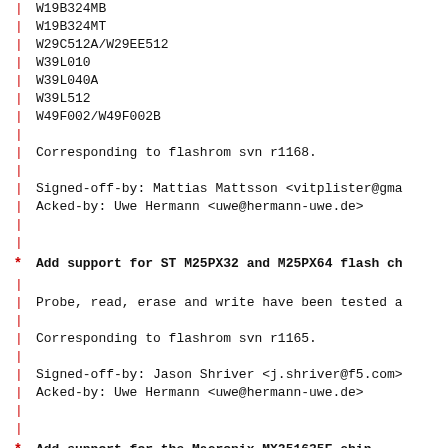W19B324MB
W19B324MT
W29C512A/W29EE512
W39L010
W39L040A
W39L512
W49F002/W49F002B
Corresponding to flashrom svn r1168.
Signed-off-by: Mattias Mattsson <vitplister@gma
Acked-by: Uwe Hermann <uwe@hermann-uwe.de>
Add support for ST M25PX32 and M25PX64 flash ch
Probe, read, erase and write have been tested a
Corresponding to flashrom svn r1165.
Signed-off-by: Jason Shriver <j.shriver@f5.com>
Acked-by: Uwe Hermann <uwe@hermann-uwe.de>
Add support for the Macronix MX251635E chip
Corresponding to flashrom svn r1162.
Signed-off-by: Stephan Guilloux <stephan.guillo